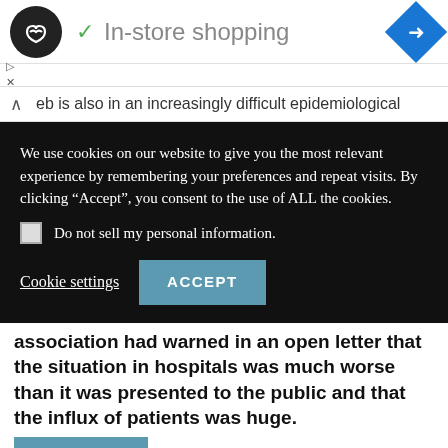In-store shopping
eb is also in an increasingly difficult epidemiological
We use cookies on our website to give you the most relevant experience by remembering your preferences and repeat visits. By clicking “Accept”, you consent to the use of ALL the cookies.
Do not sell my personal information.
Cookie settings   ACCEPT
association had warned in an open letter that the situation in hospitals was much worse than it was presented to the public and that the influx of patients was huge.
Translate »
e of War: 70 Percent of